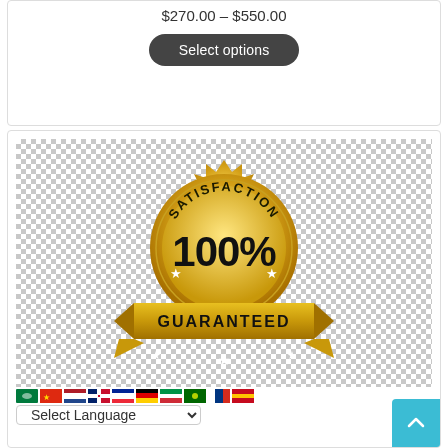$270.00 – $550.00
Select options
[Figure (illustration): Gold satisfaction 100% guaranteed badge/seal on a checkered (transparent) background, with a gold ribbon banner reading GUARANTEED at the bottom, and stars decorating it.]
Select Language